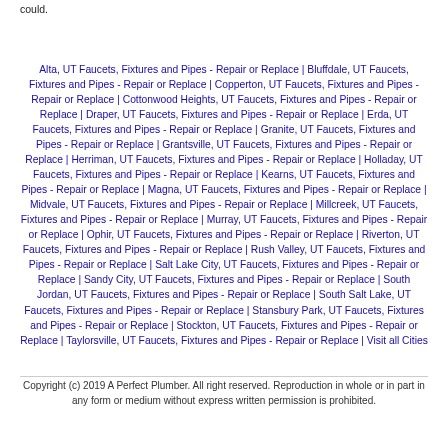could.
Alta, UT Faucets, Fixtures and Pipes - Repair or Replace | Bluffdale, UT Faucets, Fixtures and Pipes - Repair or Replace | Copperton, UT Faucets, Fixtures and Pipes - Repair or Replace | Cottonwood Heights, UT Faucets, Fixtures and Pipes - Repair or Replace | Draper, UT Faucets, Fixtures and Pipes - Repair or Replace | Erda, UT Faucets, Fixtures and Pipes - Repair or Replace | Granite, UT Faucets, Fixtures and Pipes - Repair or Replace | Grantsville, UT Faucets, Fixtures and Pipes - Repair or Replace | Herriman, UT Faucets, Fixtures and Pipes - Repair or Replace | Holladay, UT Faucets, Fixtures and Pipes - Repair or Replace | Kearns, UT Faucets, Fixtures and Pipes - Repair or Replace | Magna, UT Faucets, Fixtures and Pipes - Repair or Replace | Midvale, UT Faucets, Fixtures and Pipes - Repair or Replace | Millcreek, UT Faucets, Fixtures and Pipes - Repair or Replace | Murray, UT Faucets, Fixtures and Pipes - Repair or Replace | Ophir, UT Faucets, Fixtures and Pipes - Repair or Replace | Riverton, UT Faucets, Fixtures and Pipes - Repair or Replace | Rush Valley, UT Faucets, Fixtures and Pipes - Repair or Replace | Salt Lake City, UT Faucets, Fixtures and Pipes - Repair or Replace | Sandy City, UT Faucets, Fixtures and Pipes - Repair or Replace | South Jordan, UT Faucets, Fixtures and Pipes - Repair or Replace | South Salt Lake, UT Faucets, Fixtures and Pipes - Repair or Replace | Stansbury Park, UT Faucets, Fixtures and Pipes - Repair or Replace | Stockton, UT Faucets, Fixtures and Pipes - Repair or Replace | Taylorsville, UT Faucets, Fixtures and Pipes - Repair or Replace | Visit all Cities
Copyright (c) 2019 A Perfect Plumber. All right reserved. Reproduction in whole or in part in any form or medium without express written permission is prohibited.